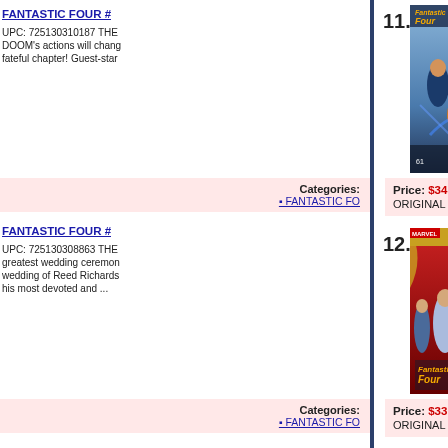11. FANTASTIC FOUR # UPC: 725130310187 THE DOOM's actions will change... fateful chapter! Guest-star... Price: $34.00 ON SALE! ORIGINAL MSRP: $49.99 Categories: FANTASTIC FO...
[Figure (illustration): Comic book cover for Fantastic Four showing superhero characters including Human Torch, Thing and others with blue and gold costumes]
12. FANTASTIC FOUR # UPC: 725130308863 THE greatest wedding ceremony... wedding of Reed Richards... his most devoted and ... Price: $33.00 ON SALE! ORIGINAL MSRP: $49.99 Categories: FANTASTIC FO...
[Figure (illustration): Comic book cover for Fantastic Four showing wedding scene with characters in formal attire and Fantastic Four logo at bottom]